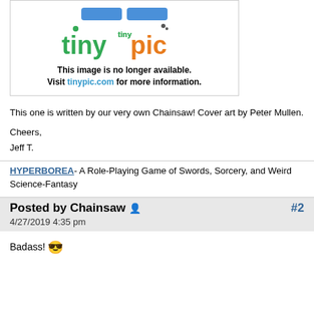[Figure (screenshot): Tinypic placeholder image showing 'This image is no longer available. Visit tinypic.com for more information.']
This one is written by our very own Chainsaw! Cover art by Peter Mullen.
Cheers,
Jeff T.
HYPERBOREA- A Role-Playing Game of Swords, Sorcery, and Weird Science-Fantasy
Posted by Chainsaw 👤 #2
4/27/2019 4:35 pm
Badass! 😎